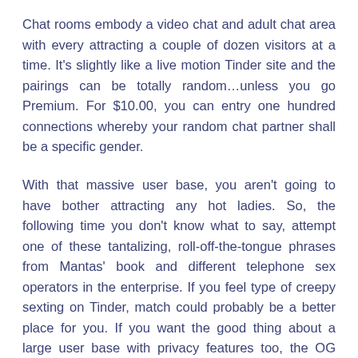Chat rooms embody a video chat and adult chat area with every attracting a couple of dozen visitors at a time. It's slightly like a live motion Tinder site and the pairings can be totally random…unless you go Premium. For $10.00, you can entry one hundred connections whereby your random chat partner shall be a specific gender.
With that massive user base, you aren't going to have bother attracting any hot ladies. So, the following time you don't know what to say, attempt one of these tantalizing, roll-off-the-tongue phrases from Mantas' book and different telephone sex operators in the enterprise. If you feel type of creepy sexting on Tinder, match could probably be a better place for you. If you want the good thing about a large user base with privacy features too, the OG could still be the most effective. Plenty of Fish is nice if you want to be matched with a compatible sexter but don't want your